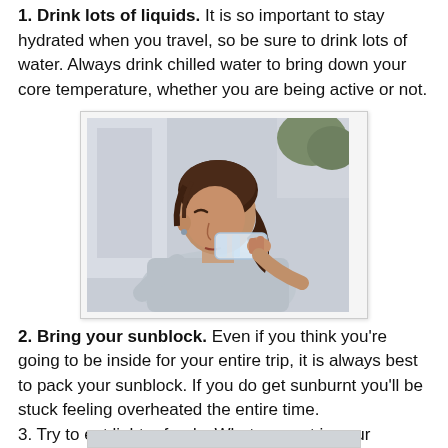1. Drink lots of liquids. It is so important to stay hydrated when you travel, so be sure to drink lots of water. Always drink chilled water to bring down your core temperature, whether you are being active or not.
[Figure (photo): A woman with dark hair in a ponytail drinking from a clear plastic water bottle, wearing a light grey sweatshirt, photographed outdoors.]
2. Bring your sunblock. Even if you think you're going to be inside for your entire trip, it is always best to pack your sunblock. If you do get sunburnt you'll be stuck feeling overheated the entire time.
3. Try to eat lighter foods. What you put in your stomach can heat the rest of your body, so try to choose foods and only eat meals that keep you full as well as hydrated.
[Figure (photo): Partial view of another image at the bottom of the page (cropped).]